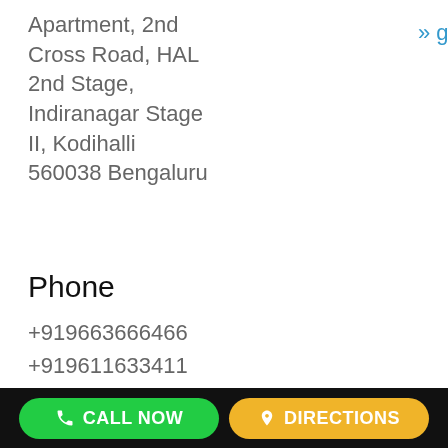Apartment, 2nd Cross Road, HAL 2nd Stage, Indiranagar Stage II, Kodihalli 560038 Bengaluru
» get directions on Google Maps
Phone
+919663666466
+919611633411
Email
CALL NOW   DIRECTIONS